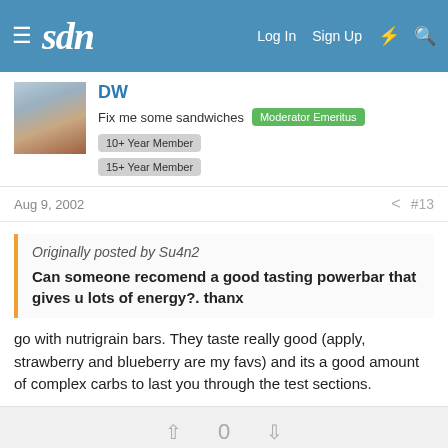sdn — Log In  Sign Up
DW
Fix me some sandwiches  Moderator Emeritus  10+ Year Member  15+ Year Member
Aug 9, 2002  #13
Originally posted by Su4n2
Can someone recomend a good tasting powerbar that gives u lots of energy?. thanx
go with nutrigrain bars. They taste really good (apply, strawberry and blueberry are my favs) and its a good amount of complex carbs to last you through the test sections.
0
exigente chica
Full Member  7+ Year Member  15+ Year Member